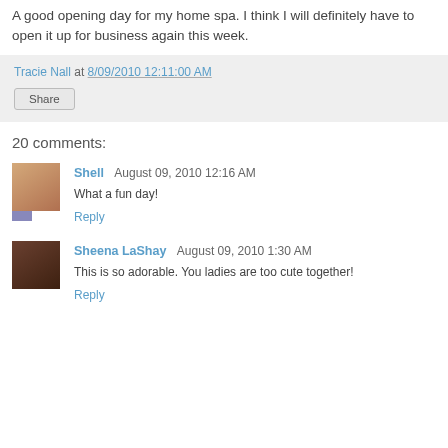A good opening day for my home spa. I think I will definitely have to open it up for business again this week.
Tracie Nall at 8/09/2010 12:11:00 AM
Share
20 comments:
Shell  August 09, 2010 12:16 AM
What a fun day!
Reply
Sheena LaShay  August 09, 2010 1:30 AM
This is so adorable. You ladies are too cute together!
Reply